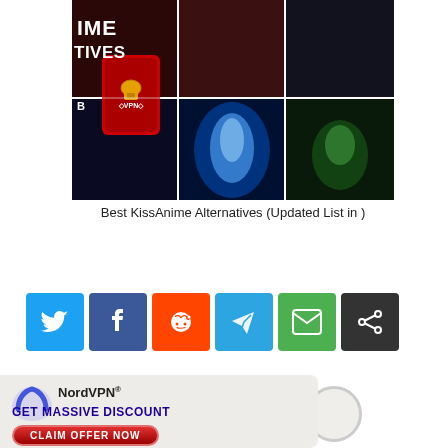[Figure (illustration): Anime character collage image showing 6 panels: top left has dark background with partial anime character and VPN phone overlay with text ANIME ALTERNATIVES, top center shows anime character with red/dark tones, top right shows dark moody anime character, bottom left shows blue-lit anime character (Goku SSB), bottom center shows glowing blue energy anime character, bottom right shows green-haired anime hero character (Deku)]
Best KissAnime Alternatives (Updated List in )
[Figure (infographic): Social sharing buttons row: Twitter (blue bird), Facebook (blue f), Reddit (orange alien), Telegram (blue paper plane), Email (green envelope), Share (dark share icon)]
[Figure (infographic): NordVPN advertisement banner with NordVPN logo, text GET MASSIVE DISCOUNT in purple/blue bold, and red rounded CLAIM OFFER NOW button]